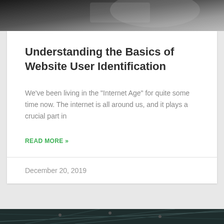[Figure (photo): Close-up photo of a device or object on a dark surface, top portion cropped]
Understanding the Basics of Website User Identification
We've been living in the "Internet Age" for quite some time now. The internet is all around us, and it plays a crucial part in
READ MORE »
December 20, 2019
[Figure (photo): Dark photo of a steel/metal structural ceiling or roof framework with lights]